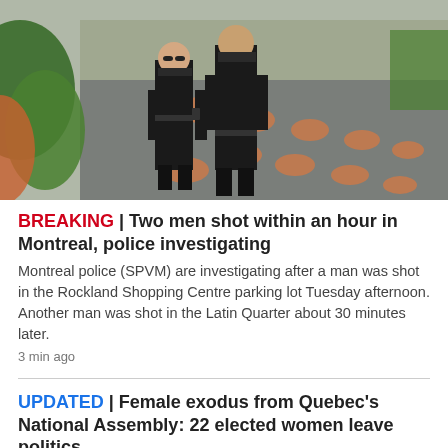[Figure (photo): Two police officers in black uniforms standing on a decorative paved street with orange oval patterns, green plants visible on the sides.]
BREAKING | Two men shot within an hour in Montreal, police investigating
Montreal police (SPVM) are investigating after a man was shot in the Rockland Shopping Centre parking lot Tuesday afternoon. Another man was shot in the Latin Quarter about 30 minutes later.
3 min ago
UPDATED | Female exodus from Quebec's National Assembly: 22 elected women leave politics